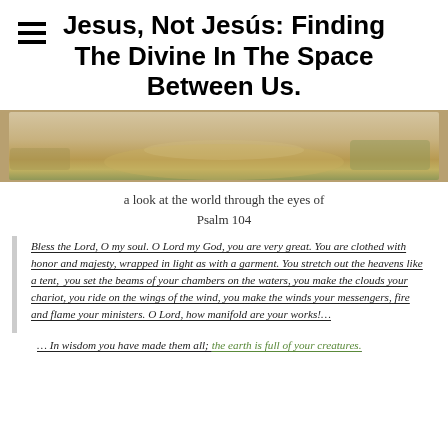Jesus, Not Jesús: Finding The Divine In The Space Between Us.
[Figure (photo): Outdoor path or dirt road with sandy/gravelly ground and dry brush/grass, taken in daylight]
a look at the world through the eyes of
Psalm 104
Bless the Lord, O my soul. O Lord my God, you are very great. You are clothed with honor and majesty, wrapped in light as with a garment. You stretch out the heavens like a tent, you set the beams of your chambers on the waters, you make the clouds your chariot, you ride on the wings of the wind, you make the winds your messengers, fire and flame your ministers. O Lord, how manifold are your works!…
… In wisdom you have made them all; the earth is full of your creatures.